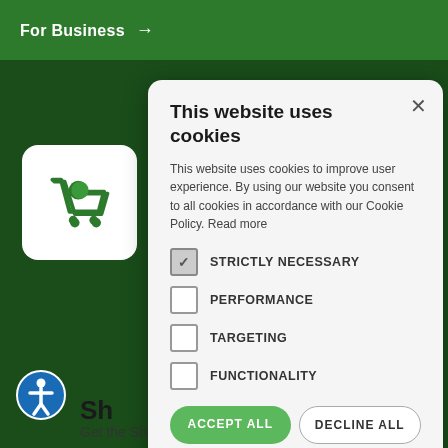For Business →
[Figure (screenshot): Cookie consent modal dialog on a green grocery/shopping website background. Shows shopping cart icon, accessibility icon, partial text 'Sh...' and 'Get the Shopwell App.']
This website uses cookies
This website uses cookies to improve user experience. By using our website you consent to all cookies in accordance with our Cookie Policy. Read more
STRICTLY NECESSARY (checked)
PERFORMANCE
TARGETING
FUNCTIONALITY
ACCEPT ALL | DECLINE ALL
⚙ SHOW DETAILS